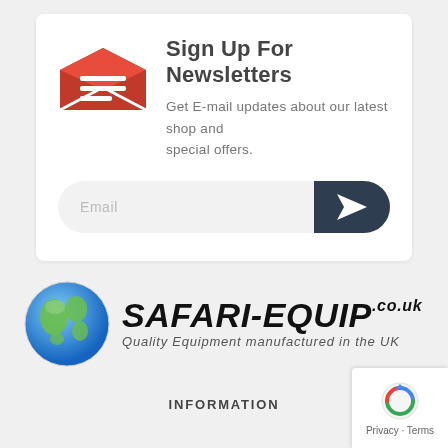Sign Up For Newsletters
Get E-mail updates about our latest shop and special offers.
[Figure (illustration): Red envelope email icon open with white letter lines]
[Figure (illustration): Email input field with send button (paper plane icon on dark background)]
[Figure (logo): Safari-Equip.co.uk logo with globe and text: Quality Equipment manufactured in the UK]
INFORMATION
[Figure (illustration): Google reCAPTCHA badge with Privacy and Terms links]